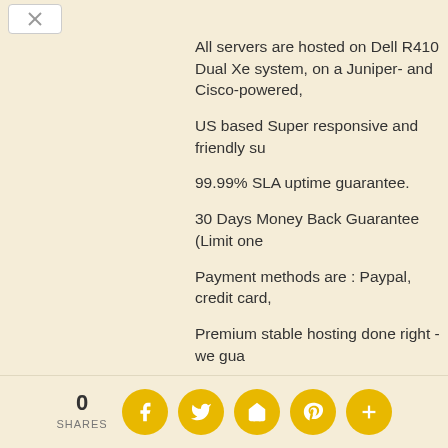All servers are hosted on Dell R410 Dual Xe system, on a Juniper- and Cisco-powered,
US based Super responsive and friendly su
99.99% SLA uptime guarantee.
30 Days Money Back Guarantee (Limit one
Payment methods are : Paypal, credit card,
Premium stable hosting done right - we gua
newbielink:http://www.hostspage.com [nonac
Questions? Please open a pre-sales ticket: newbielink:http://www.hostspage.com/subm
Please note our plans are unmetered not un and webpages as you like. For very high tra and high server load scripts our fair use pol
0 SHARES